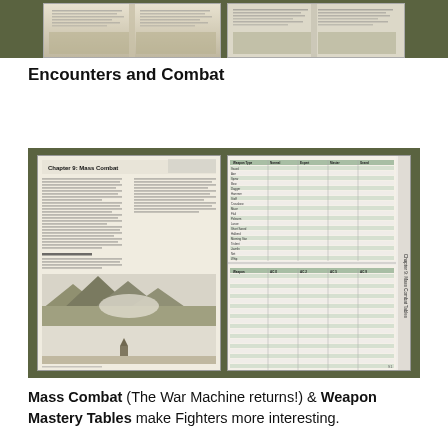[Figure (photo): Two photos of open book pages showing 'Encounters and Combat' chapter content, partially visible at top of page]
Encounters and Combat
[Figure (photo): Two photos of open book pages: left shows 'Chapter 9: Mass Combat' with text and a mountain landscape illustration; right shows pages with green-tinted data tables for Weapon Mastery]
Mass Combat (The War Machine returns!) & Weapon Mastery Tables make Fighters more interesting.